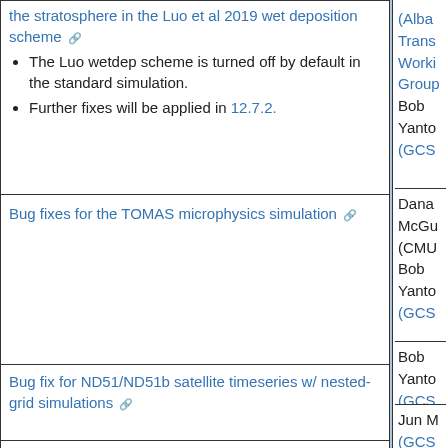| Description | Contributors |
| --- | --- |
| the stratosphere in the Luo et al 2019 wet deposition scheme [link]
• The Luo wetdep scheme is turned off by default in the standard simulation.
• Further fixes will be applied in 12.7.2. | (Alba...
Trans...
Worki...
Group...
Bob
Yanto...
(GCS... |
| Bug fixes for the TOMAS microphysics simulation [link] | Dana...
McGu...
(CMU...
Bob
Yanto...
(GCS... |
| Bug fix for ND51/ND51b satellite timeseries w/ nested-grid simulations [link] | Bob
Yanto...
(GCS... |
| Bug fix in computation of AOD from isoprene SOA diagnostic [link] | Jun M...
(GCS...
Bob |